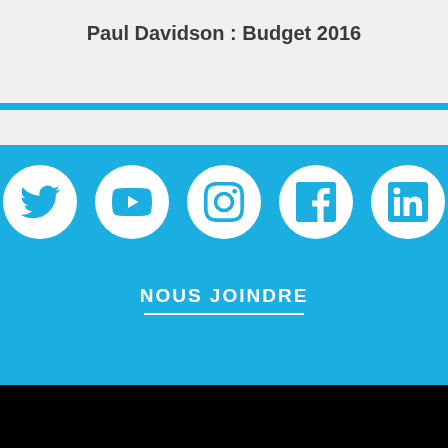Paul Davidson : Budget 2016
[Figure (infographic): Social media icons row: Twitter, YouTube, Instagram, Facebook, LinkedIn — white circles on blue background]
NOUS JOINDRE